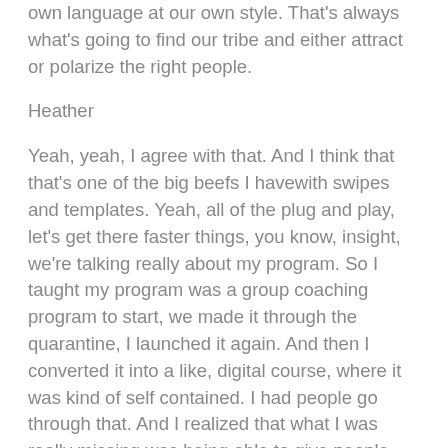own language at our own style. That's always what's going to find our tribe and either attract or polarize the right people.
Heather
Yeah, yeah, I agree with that. And I think that that's one of the big beefs I havewith swipes and templates. Yeah, all of the plug and play, let's get there faster things, you know, insight, we're talking really about my program. So I taught my program was a group coaching program to start, we made it through the quarantine, I launched it again. And then I converted it into a like, digital course, where it was kind of self contained. I had people go through that. And I realized that what I was really missing was being able to give people feedback and have people work through it. So I shifted into a different